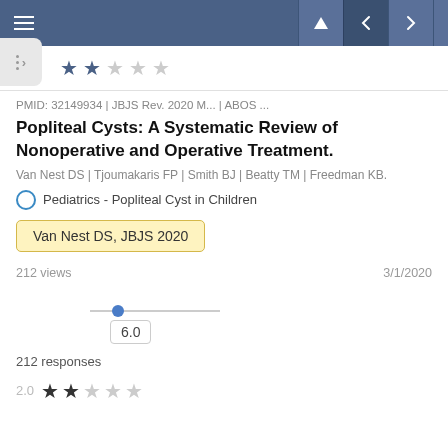Navigation bar with hamburger menu and navigation icons
[Figure (other): Star rating row showing 2 filled stars and 3 empty stars]
PMID: 32149934 | JBJS Rev. 2020 M... | ABOS ...
Popliteal Cysts: A Systematic Review of Nonoperative and Operative Treatment.
Van Nest DS | Tjoumakaris FP | Smith BJ | Beatty TM | Freedman KB.
Pediatrics - Popliteal Cyst in Children
Van Nest DS, JBJS 2020
212 views     3/1/2020
[Figure (other): Slider control showing value 6.0 with blue thumb indicator]
212 responses
2.0
[Figure (other): Star rating showing 2 filled stars and 3 empty stars]